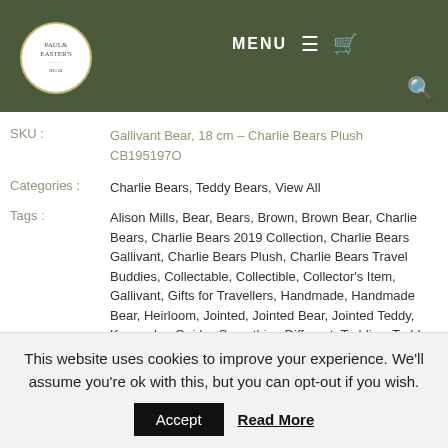MENU (navigation bar with logo, menu, cart, and search icons)
SKU : Gallivant Bear, 18 cm – Charlie Bears Plush CB195197O
Categories : Charlie Bears, Teddy Bears, View All
Tags : Alison Mills, Bear, Bears, Brown, Brown Bear, Charlie Bears, Charlie Bears 2019 Collection, Charlie Bears Gallivant, Charlie Bears Plush, Charlie Bears Travel Buddies, Collectable, Collectible, Collector's Item, Gallivant, Gifts for Travellers, Handmade, Handmade Bear, Heirloom, Jointed, Jointed Bear, Jointed Teddy, Keepsake, Quirky, Something Different, Teddies, Teddy Bear, Travel, Travel Accessories, Travel Buddies, Travel Buddy, Travelling, Travelling Gifts, Unusual
This website uses cookies to improve your experience. We'll assume you're ok with this, but you can opt-out if you wish. Accept Read More